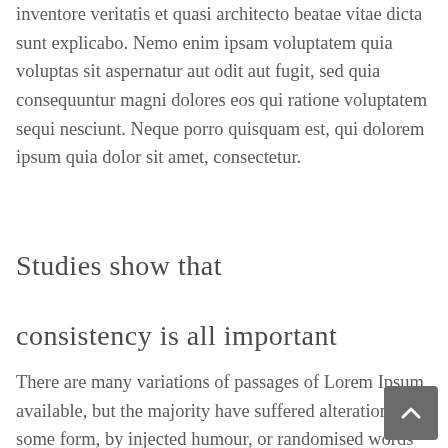inventore veritatis et quasi architecto beatae vitae dicta sunt explicabo. Nemo enim ipsam voluptatem quia voluptas sit aspernatur aut odit aut fugit, sed quia consequuntur magni dolores eos qui ratione voluptatem sequi nesciunt. Neque porro quisquam est, qui dolorem ipsum quia dolor sit amet, consectetur.
Studies show that
consistency is all important
There are many variations of passages of Lorem Ipsum available, but the majority have suffered alteration in some form, by injected humour, or randomised words which don't look even slightly